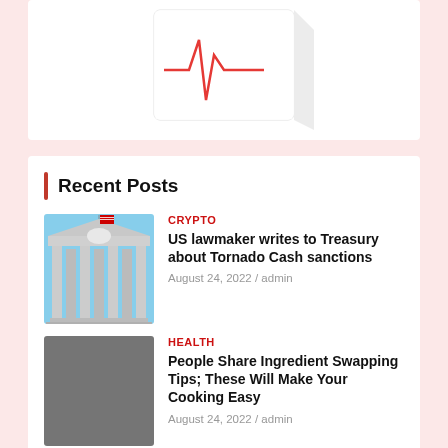[Figure (illustration): Medical/health product box with red heartbeat line graphic on white background, partially visible at top]
Recent Posts
[Figure (photo): US Capitol building with American flag]
CRYPTO
US lawmaker writes to Treasury about Tornado Cash sanctions
August 24, 2022 / admin
[Figure (photo): Gray placeholder image]
HEALTH
People Share Ingredient Swapping Tips; These Will Make Your Cooking Easy
August 24, 2022 / admin
[Figure (illustration): Anime-style character illustration with fiery background]
CRYPTO
Bitfinex offers new chain split tokens ahead of Ethereum Merge